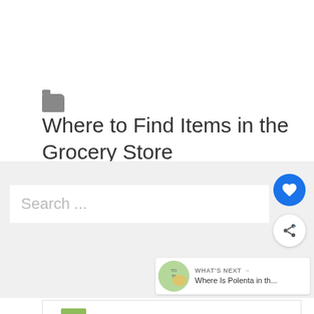Where to Find Items in the Grocery Store
Search ...
[Figure (screenshot): Heart (favorite) button - blue circle with white heart icon]
[Figure (screenshot): Share button - white circle with share icon]
WHAT'S NEXT → Where Is Polenta in th...
The DMVs #1 Garden Centre Meadows Farms Nurseries and Landsca